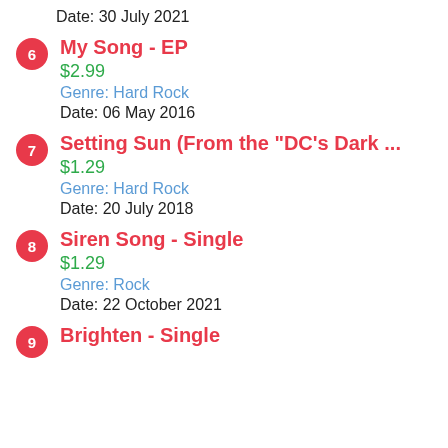Date: 30 July 2021
6 My Song - EP
$2.99
Genre: Hard Rock
Date: 06 May 2016
7 Setting Sun (From the "DC's Dark ...
$1.29
Genre: Hard Rock
Date: 20 July 2018
8 Siren Song - Single
$1.29
Genre: Rock
Date: 22 October 2021
9 Brighten - Single